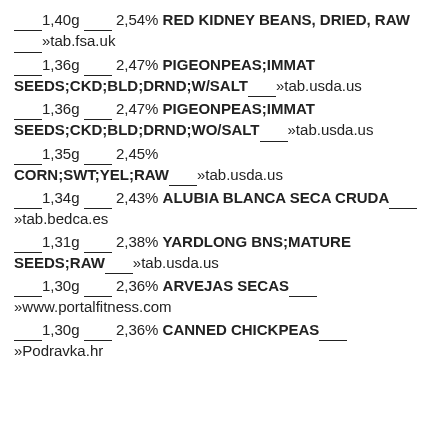___1,40g __ 2,54% RED KIDNEY BEANS, DRIED, RAW___»tab.fsa.uk
___1,36g __ 2,47% PIGEONPEAS;IMMAT SEEDS;CKD;BLD;DRND;W/SALT___»tab.usda.us
___1,36g __ 2,47% PIGEONPEAS;IMMAT SEEDS;CKD;BLD;DRND;WO/SALT___»tab.usda.us
___1,35g __ 2,45% CORN;SWT;YEL;RAW___»tab.usda.us
___1,34g __ 2,43% ALUBIA BLANCA SECA CRUDA___»tab.bedca.es
___1,31g __ 2,38% YARDLONG BNS;MATURE SEEDS;RAW___»tab.usda.us
___1,30g __ 2,36% ARVEJAS SECAS___»www.portalfitness.com
___1,30g __ 2,36% CANNED CHICKPEAS___»Podravka.hr